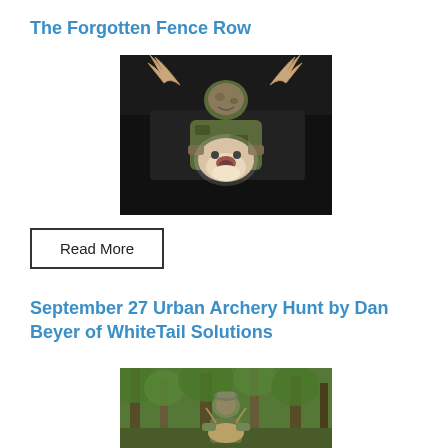The Forgotten Fence Row
[Figure (photo): Hunter in camouflage holding up large whitetail deer with antlers at night]
Read More
September 27 Urban Archery Hunt by Dan Beyer of WhiteTail Solutions
[Figure (photo): Hunter in camouflage in a green wooded forest area holding a deer]